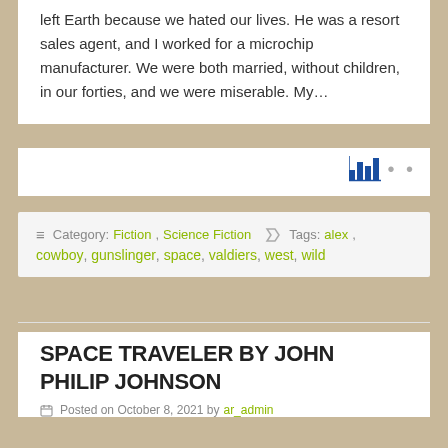left Earth because we hated our lives. He was a resort sales agent, and I worked for a microchip manufacturer. We were both married, without children, in our forties, and we were miserable. My…
≡ Category: Fiction, Science Fiction  🏷 Tags: alex, cowboy, gunslinger, space, valdiers, west, wild
SPACE TRAVELER BY JOHN PHILIP JOHNSON
Posted on October 8, 2021 by ar_admin